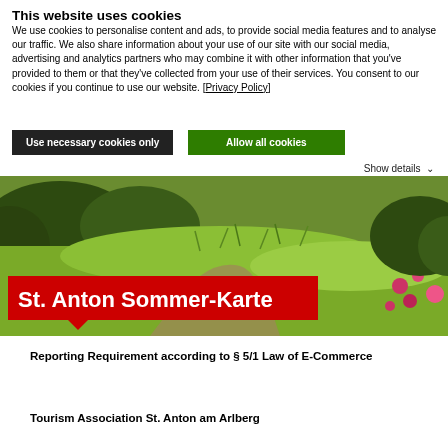This website uses cookies
We use cookies to personalise content and ads, to provide social media features and to analyse our traffic. We also share information about your use of our site with our social media, advertising and analytics partners who may combine it with other information that you've provided to them or that they've collected from your use of their services. You consent to our cookies if you continue to use our website. [Privacy Policy]
Use necessary cookies only
Allow all cookies
Show details ∨
[Figure (photo): Outdoor nature photo showing green meadow, bushes, and pink flowers with a path, with a red banner overlay reading 'St. Anton Sommer-Karte']
Reporting Requirement according to § 5/1 Law of E-Commerce
Tourism Association St. Anton am Arlberg